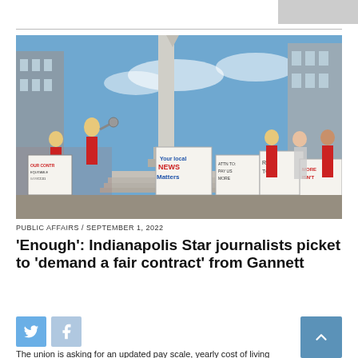[Figure (photo): Protesters in red shirts holding signs at a rally in front of a monument. Signs read 'Your local News Matters', 'Pay Us More', and others. A woman speaks into a megaphone. Downtown Indianapolis skyline visible in background.]
PUBLIC AFFAIRS / SEPTEMBER 1, 2022
'Enough': Indianapolis Star journalists picket to 'demand a fair contract' from Gannett
The union is asking for an updated pay scale, yearly cost of living